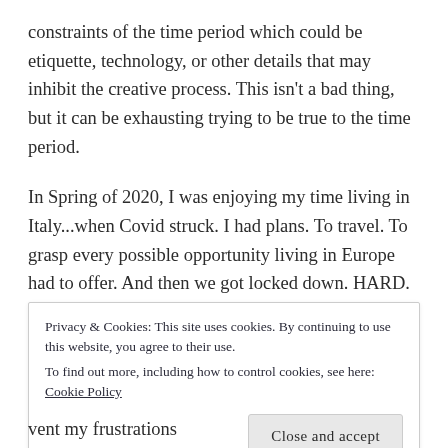constraints of the time period which could be etiquette, technology, or other details that may inhibit the creative process. This isn't a bad thing, but it can be exhausting trying to be true to the time period.
In Spring of 2020, I was enjoying my time living in Italy...when Covid struck. I had plans. To travel. To grasp every possible opportunity living in Europe had to offer. And then we got locked down. HARD. I mean, I didn't leave our one-acre property for three
Privacy & Cookies: This site uses cookies. By continuing to use this website, you agree to their use.
To find out more, including how to control cookies, see here:
Cookie Policy
Close and accept
vent my frustrations